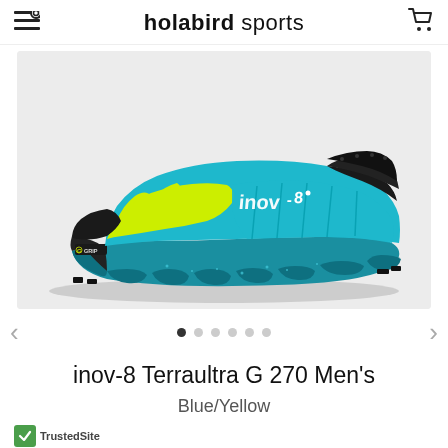holabird sports
[Figure (photo): Side view of an inov-8 Terraultra G 270 Men's trail running shoe in Blue/Yellow colorway. The shoe features a bright teal/blue upper with neon yellow accents, black mesh and collar, and a G-Grip rubber outsole with the G-Grip logo visible on the heel.]
inov-8 Terraultra G 270 Men's
Blue/Yellow